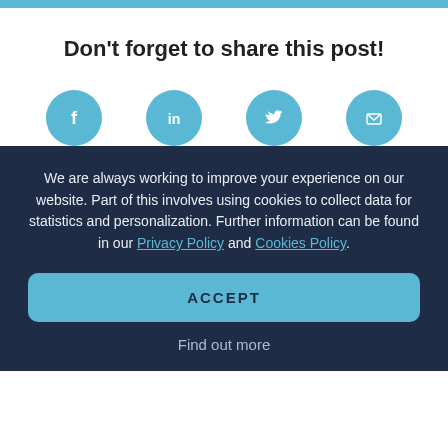Don't forget to share this post!
[Figure (illustration): Row of four social media icons (Facebook, LinkedIn, Twitter, Email) in teal circular buttons]
We are always working to improve your experience on our website. Part of this involves using cookies to collect data for statistics and personalization. Further information can be found in our Privacy Policy and Cookies Policy.
ACCEPT
Find out more